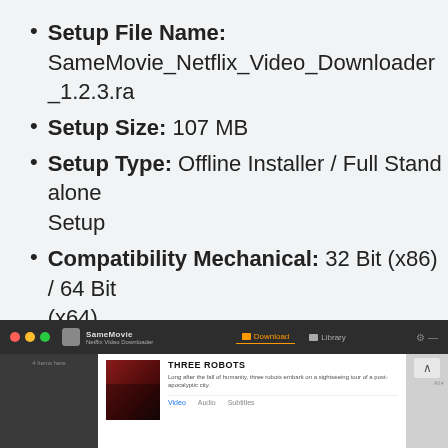Setup File Name: SameMovie_Netflix_Video_Downloader_1.2.3.ra
Setup Size: 107 MB
Setup Type: Offline Installer / Full Standalone Setup
Compatibility Mechanical: 32 Bit (x86) / 64 Bit (x64)
Latest Version Release Added On: 04th Mar 2022
Developers: SameMovie
[Figure (screenshot): Screenshot of SameMovie Netflix Video Downloader application showing the Download and Library tabs, with a Three Robots show card displaying Video, Audio, and Subtitles options]